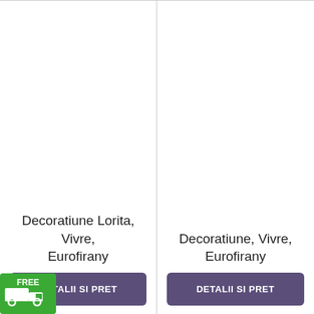Decoratiune Lorita, Vivre, Eurofirany
DETALII SI PRET
[Figure (illustration): Green badge with truck icon and FREE text]
Decoratiune, Vivre, Eurofirany
DETALII SI PRET